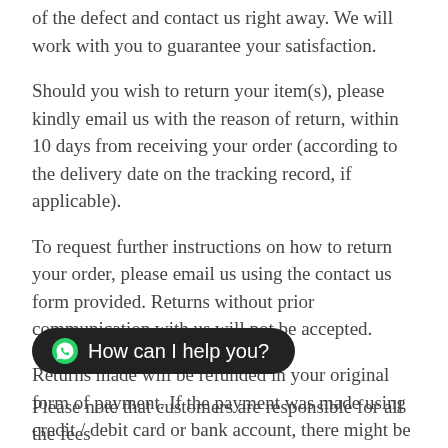of the defect and contact us right away. We will work with you to guarantee your satisfaction.
Should you wish to return your item(s), please kindly email us with the reason of return, within 10 days from receiving your order (according to the delivery date on the tracking record, if applicable).
To request further instructions on how to return your order, please email us using the contact us form provided. Returns without prior communication with us will not be accepted.
Returns made will be refunded in your original form of payment. If the payment was made using credit / debit card or bank account, there might be a lead time required by PayPal (our credit card settlement service provider) to set up t[he transfer to your ba]nk.
[Figure (other): Dark rounded chat button with WhatsApp icon and text 'How can I help you?']
Please note that customers are responsible for all the fees